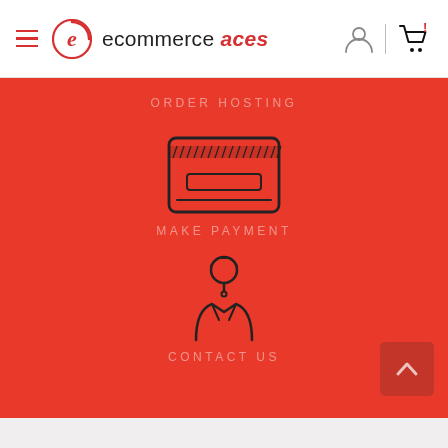[Figure (logo): Ecommerce Aces website header with hamburger menu icon, circular logo with letter e, brand name 'ecommerce aces', user icon, and shopping cart icon]
ORDER HOSTING
[Figure (illustration): Credit card icon - outline of a payment card with stripe and signature strip]
MAKE PAYMENT
[Figure (illustration): Customer service person / contact us icon - outline figure of a person with headset]
CONTACT US